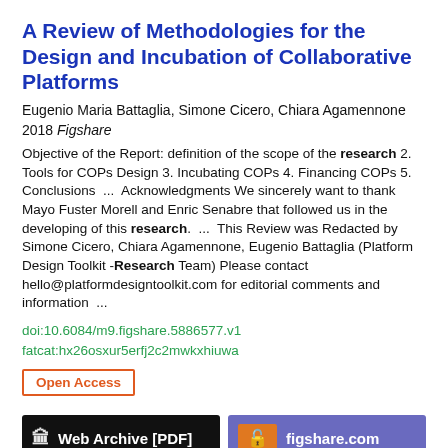A Review of Methodologies for the Design and Incubation of Collaborative Platforms
Eugenio Maria Battaglia, Simone Cicero, Chiara Agamennone
2018 Figshare
Objective of the Report: definition of the scope of the research 2. Tools for COPs Design 3. Incubating COPs 4. Financing COPs 5. Conclusions  ...  Acknowledgments We sincerely want to thank Mayo Fuster Morell and Enric Senabre that followed us in the developing of this research.  ...  This Review was Redacted by Simone Cicero, Chiara Agamennone, Eugenio Battaglia (Platform Design Toolkit -Research Team) Please contact hello@platformdesigntoolkit.com for editorial comments and information  ...
doi:10.6084/m9.figshare.5886577.v1
fatcat:hx26osxur5erfj2c2mwkxhiuwa
Open Access
[Figure (other): Two buttons: 'Web Archive [PDF]' in black and 'figshare.com' in purple with orange lock badge]
[Figure (other): Three circular icon buttons: quote, edit, and link icons]